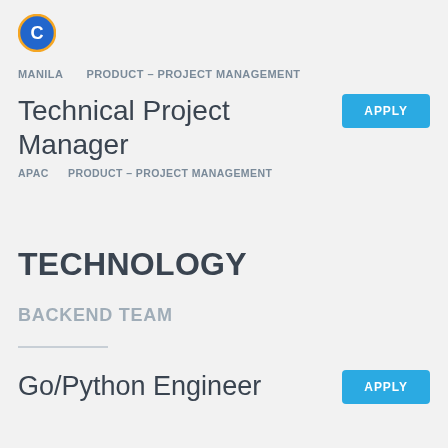[Figure (logo): Blue circle logo with letter C in white]
MANILA   PRODUCT – PROJECT MANAGEMENT
Technical Project Manager
APAC   PRODUCT – PROJECT MANAGEMENT
TECHNOLOGY
BACKEND TEAM
Go/Python Engineer